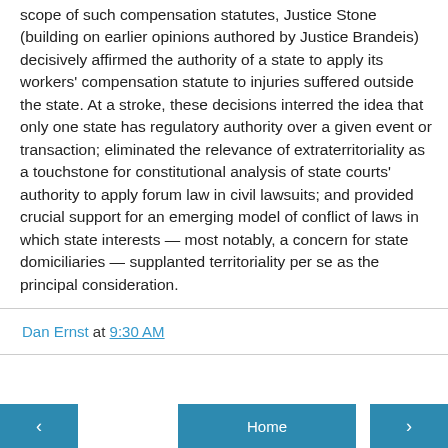scope of such compensation statutes, Justice Stone (building on earlier opinions authored by Justice Brandeis) decisively affirmed the authority of a state to apply its workers' compensation statute to injuries suffered outside the state. At a stroke, these decisions interred the idea that only one state has regulatory authority over a given event or transaction; eliminated the relevance of extraterritoriality as a touchstone for constitutional analysis of state courts' authority to apply forum law in civil lawsuits; and provided crucial support for an emerging model of conflict of laws in which state interests — most notably, a concern for state domiciliaries — supplanted territoriality per se as the principal consideration.
Dan Ernst at 9:30 AM
‹  Home  ›